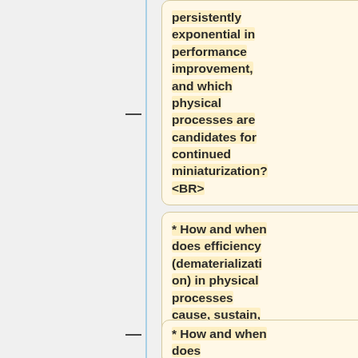persistently exponential in performance improvement, and which physical processes are candidates for continued miniaturization? <BR>
* How and when does efficiency (dematerialization) in physical processes cause, sustain, or relate to performance improvement?
* How and when does